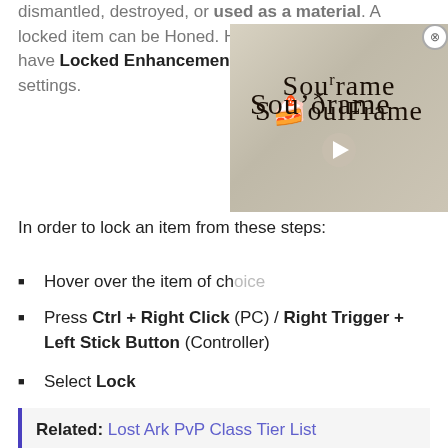dismantled, destroyed, or used as a material. A locked item can be Honed. However, you need to have Locked Enhancements turned on from your settings.
[Figure (screenshot): Soulframe game logo/thumbnail with medieval-style lettering 'Soulframe' on a stone texture background with a play button overlay. Close button (X) in circle at top right.]
In order to lock an item from these steps:
Hover over the item of choice
Press Ctrl + Right Click (PC) / Right Trigger + Left Stick Button (Controller)
Select Lock
Related: Lost Ark PvP Class Tier List
Content Continues After Ad